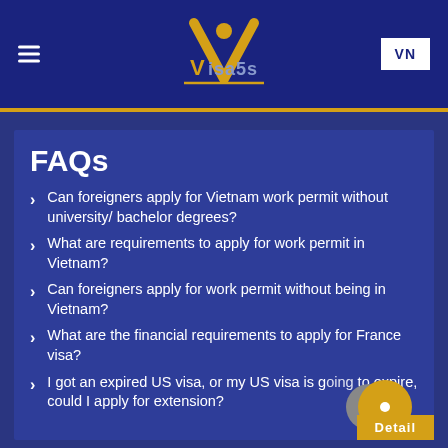Visa5s — VN
FAQs
Can foreigners apply for Vietnam work permit without university/ bachelor degrees?
What are requirements to apply for work permit in Vietnam?
Can foreigners apply for work permit without being in Vietnam?
What are the financial requirements to apply for France visa?
I got an expired US visa, or my US visa is going to expire, could I apply for extension?